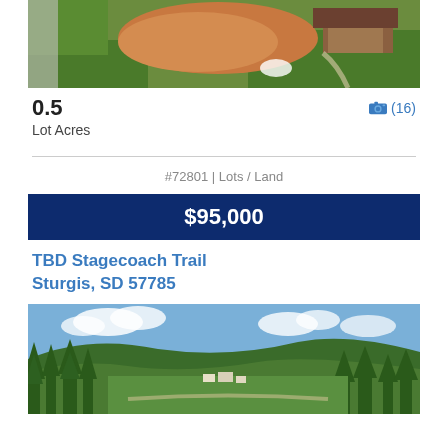[Figure (photo): Aerial view of a land lot with exposed earth, green grass, and a brown-roofed building in the upper right corner]
0.5
Lot Acres
(16)
#72801 | Lots / Land
$95,000
TBD Stagecoach Trail
Sturgis, SD 57785
[Figure (photo): Aerial landscape photo showing green forested hills, a valley with buildings, blue sky with clouds, and pine trees in the foreground]